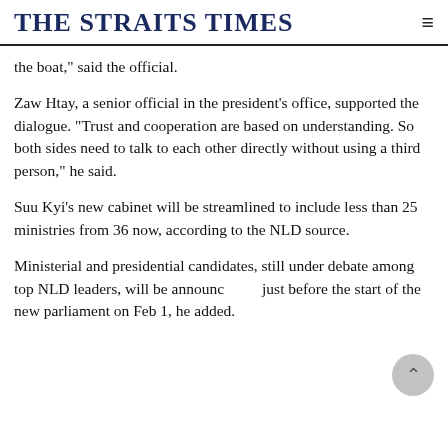THE STRAITS TIMES
the boat," said the official.
Zaw Htay, a senior official in the president's office, supported the dialogue. "Trust and cooperation are based on understanding. So both sides need to talk to each other directly without using a third person," he said.
Suu Kyi's new cabinet will be streamlined to include less than 25 ministries from 36 now, according to the NLD source.
Ministerial and presidential candidates, still under debate among top NLD leaders, will be announced just before the start of the new parliament on Feb 1, he added.